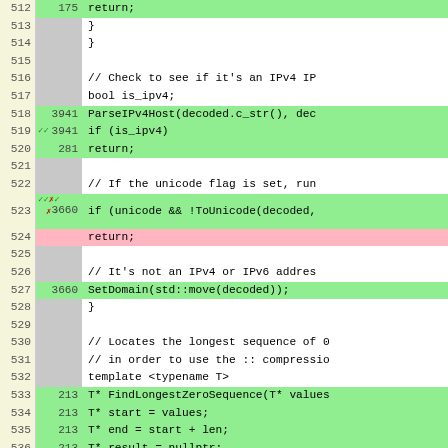[Figure (screenshot): Code coverage view showing C++ source lines 512-536 with line numbers, hit counts, coverage indicators (green/pink), and code content including IPv4/IPv6 host parsing and FindLongestZeroSequence function template]